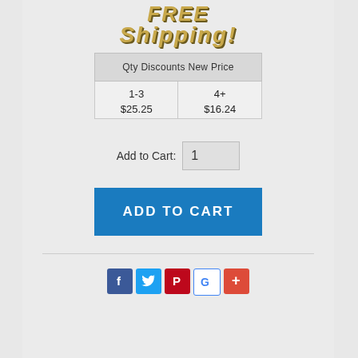[Figure (illustration): FREE Shipping! text in golden stylized bold italic font with dark shadow]
| Qty Discounts New Price |
| --- |
| 1-3
$25.25 | 4+
$16.24 |
Add to Cart: 1
ADD TO CART
[Figure (illustration): Social share icons: Facebook, Twitter, Pinterest, Google, Plus]